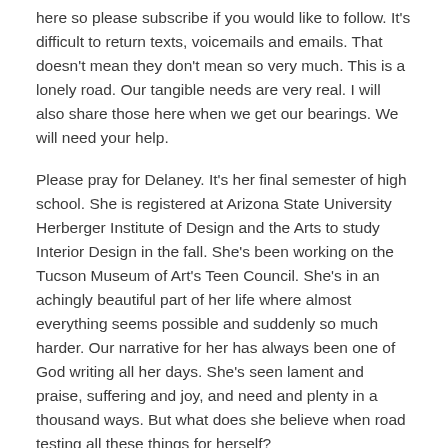here so please subscribe if you would like to follow. It's difficult to return texts, voicemails and emails. That doesn't mean they don't mean so very much. This is a lonely road. Our tangible needs are very real. I will also share those here when we get our bearings. We will need your help.
Please pray for Delaney. It's her final semester of high school. She is registered at Arizona State University Herberger Institute of Design and the Arts to study Interior Design in the fall. She's been working on the Tucson Museum of Art's Teen Council. She's in an achingly beautiful part of her life where almost everything seems possible and suddenly so much harder. Our narrative for her has always been one of God writing all her days. She's seen lament and praise, suffering and joy, and need and plenty in a thousand ways. But what does she believe when road testing all these things for herself?
We talked about miracles this week. Someone well meaning already threw the word out there in a faith context that made me cringe. We've seen miracles. We expect miracles. But not in